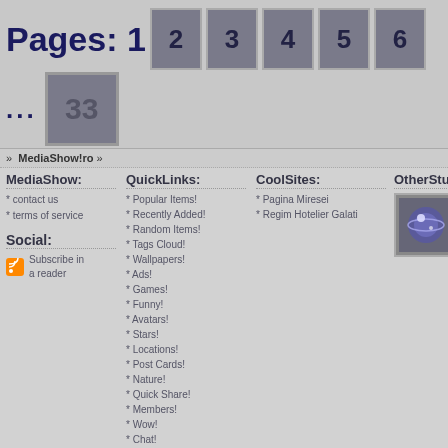Pages: 1  2  3  4  5  6  ...  33
» MediaShow!ro »
MediaShow: * contact us * terms of service
QuickLinks: * Popular Items! * Recently Added! * Random Items! * Tags Cloud! * Wallpapers! * Ads! * Games! * Funny! * Avatars! * Stars! * Locations! * Post Cards! * Nature! * Quick Share! * Members! * Wow! * Chat!
CoolSites: * Pagina Miresei * Regim Hotelier Galati
OtherStuff:
Social:
Subscribe in a reader
Copyright of items uploaded is to the rightful owners - no copyright infrigment is intended.
If one of the items belongs to you, please contact us so we can give credit where it is due.
Page generated in 0.0887 seconds. Served by hublot .